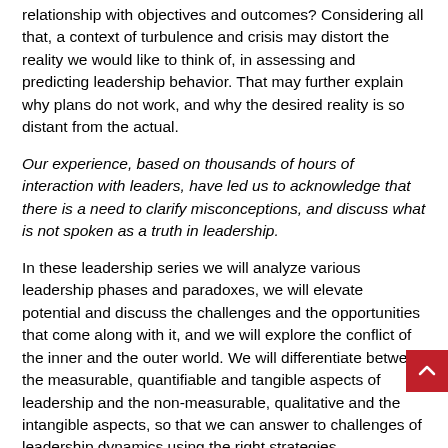relationship with objectives and outcomes? Considering all that, a context of turbulence and crisis may distort the reality we would like to think of, in assessing and predicting leadership behavior. That may further explain why plans do not work, and why the desired reality is so distant from the actual.
Our experience, based on thousands of hours of interaction with leaders, have led us to acknowledge that there is a need to clarify misconceptions, and discuss what is not spoken as a truth in leadership.
In these leadership series we will analyze various leadership phases and paradoxes, we will elevate potential and discuss the challenges and the opportunities that come along with it, and we will explore the conflict of the inner and the outer world. We will differentiate between the measurable, quantifiable and tangible aspects of leadership and the non-measurable, qualitative and the intangible aspects, so that we can answer to challenges of leadership dynamics using the right strategies.
Our interdisciplinary approach based on the Science of Value, Neuroscience, Psychology and the Art of Influence, will allow